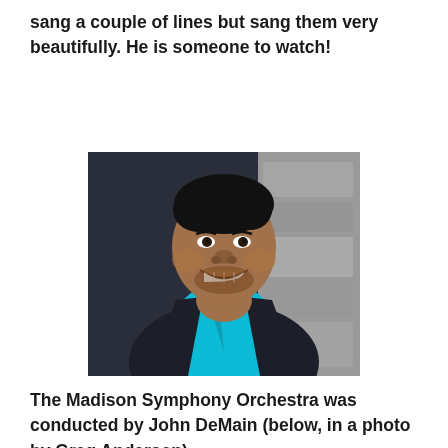sang a couple of lines but sang them very beautifully. He is someone to watch!
[Figure (photo): Professional headshot of a smiling man wearing a teal/turquoise shirt and dark blazer, leaning against a stone wall. Photo by Greg Anderson.]
The Madison Symphony Orchestra was conducted by John DeMain (below, in a photo by Greg Anderson).